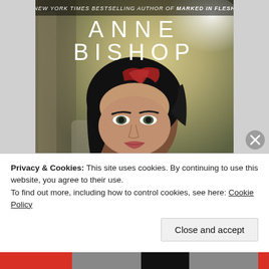[Figure (illustration): Book cover for Anne Bishop. Top text reads 'NEW YORK TIMES BESTSELLING AUTHOR OF MARKED IN FLESH' in small white italic letters. Large author name 'ANNE BISHOP' in white spaced capital letters. Center image shows a woman with dark hair with red highlights, wearing a dark knit top, looking at camera against a muted grey-green background with stone-like elements.]
Privacy & Cookies: This site uses cookies. By continuing to use this website, you agree to their use.
To find out more, including how to control cookies, see here: Cookie Policy
Close and accept